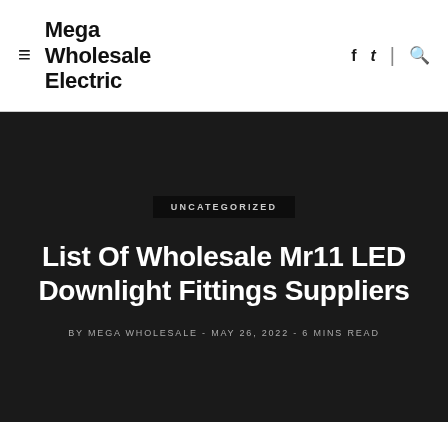Mega Wholesale Electric
List Of Wholesale Mr11 LED Downlight Fittings Suppliers
UNCATEGORIZED
BY MEGA WHOLESALE - MAY 26, 2022 - 6 MINS READ